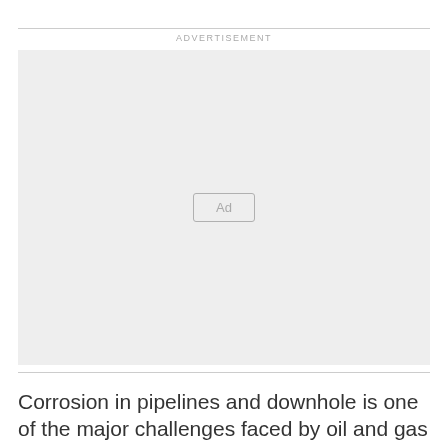[Figure (other): Advertisement placeholder box with 'Ad' label centered inside a light gray rectangle]
Corrosion in pipelines and downhole is one of the major challenges faced by oil and gas